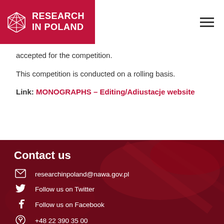RESEARCH IN POLAND
accepted for the competition.
This competition is conducted on a rolling basis.
Link: MONOGRAPHS – Editing/Adiustacje website
Contact us
researchinpoland@nawa.gov.pl
Follow us on Twitter
Follow us on Facebook
+48 22 390 35 00